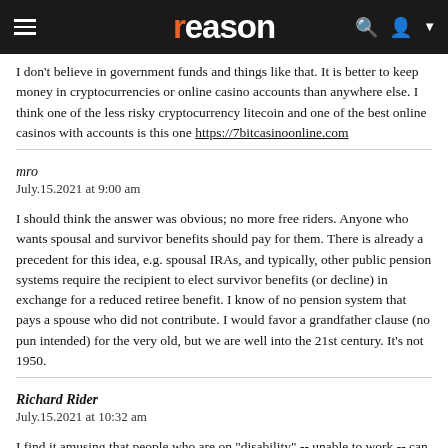reason
I don't believe in government funds and things like that. It is better to keep money in cryptocurrencies or online casino accounts than anywhere else. I think one of the less risky cryptocurrency litecoin and one of the best online casinos with accounts is this one https://7bitcasinoonline.com
mro
July.15.2021 at 9:00 am
I should think the answer was obvious; no more free riders. Anyone who wants spousal and survivor benefits should pay for them. There is already a precedent for this idea, e.g. spousal IRAs, and typically, other public pension systems require the recipient to elect survivor benefits (or decline) in exchange for a reduced retiree benefit. I know of no pension system that pays a spouse who did not contribute. I would favor a grandfather clause (no pun intended) for the very old, but we are well into the 21st century. It's not 1950.
Richard Rider
July.15.2021 at 10:32 am
I find it amusing that people who are on "disability" -- unable to work -- can spend endless hours writing and debating on social media -- including in these comments.
I may be wrong, but isn't it becoming common for people to do...